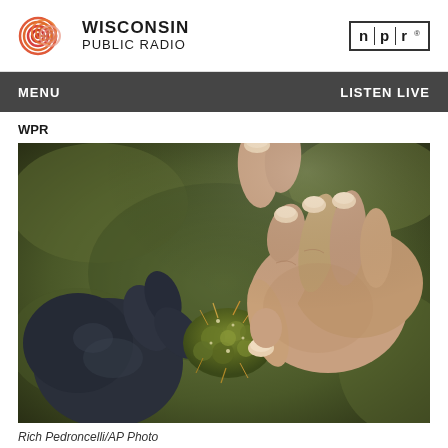Wisconsin Public Radio / NPR
MENU  LISTEN LIVE
WPR
[Figure (photo): Close-up photo of hands holding a marijuana bud — one hand wearing a dark blue latex glove, the other a bare hand with visible fingers and thumbnail, against a blurred green background.]
Rich Pedroncelli/AP Photo